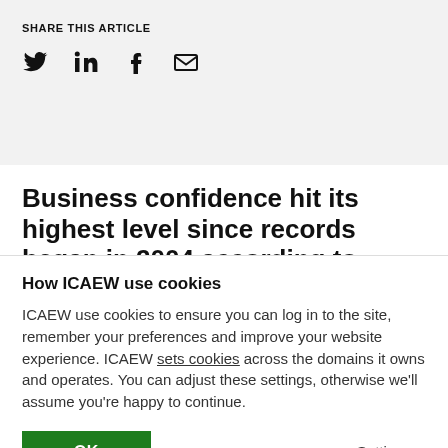SHARE THIS ARTICLE
[Figure (infographic): Social media share icons: Twitter, LinkedIn, Facebook, Email]
Business confidence hit its highest level since records began in 2004 according to
How ICAEW use cookies
ICAEW use cookies to ensure you can log in to the site, remember your preferences and improve your website experience. ICAEW sets cookies across the domains it owns and operates. You can adjust these settings, otherwise we'll assume you're happy to continue.
OK
Settings